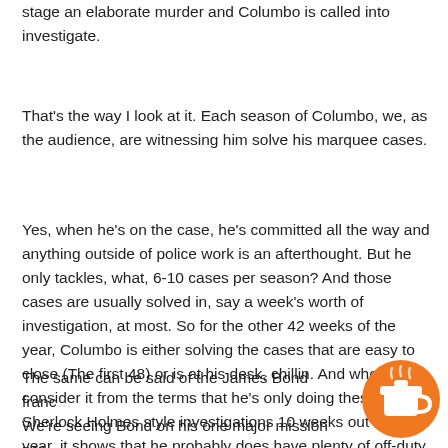stage an elaborate murder and Columbo is called into investigate.
That's the way I look at it. Each season of Columbo, we, as the audience, are witnessing him solve his marquee cases.
Yes, when he's on the case, he's committed all the way and anything outside of police work is an afterthought. But he only tackles, what, 6-10 cases per season? And those cases are usually solved in, say a week's worth of investigation, at most. So for the other 42 weeks of the year, Columbo is either solving the cases that are easy to close (The first 48) or is at his desk, chillin. And when you consider it from the terms that he's only doing these Sherlock Holmes style investigations 10 weeks out of the year, it shows that he probably does have plenty of off-duty time to spoil and cavort with Mrs. Columbo.
The same can be said of the James Bond franc... We're seeing Bond on his one major mission per... rest of the time, he's just a British civil servant with an
[Figure (illustration): Orange circular button with a coffee cup icon (Buy Me a Coffee style button)]